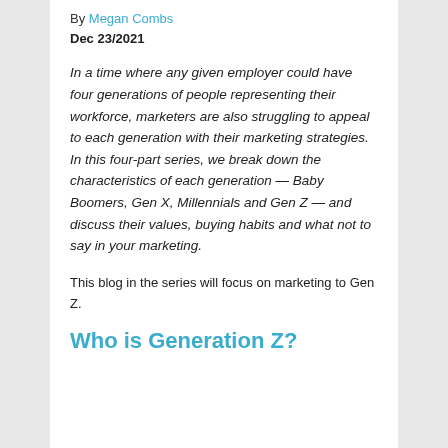By Megan Combs
Dec 23/2021
In a time where any given employer could have four generations of people representing their workforce, marketers are also struggling to appeal to each generation with their marketing strategies. In this four-part series, we break down the characteristics of each generation — Baby Boomers, Gen X, Millennials and Gen Z — and discuss their values, buying habits and what not to say in your marketing.
This blog in the series will focus on marketing to Gen Z.
Who is Generation Z?